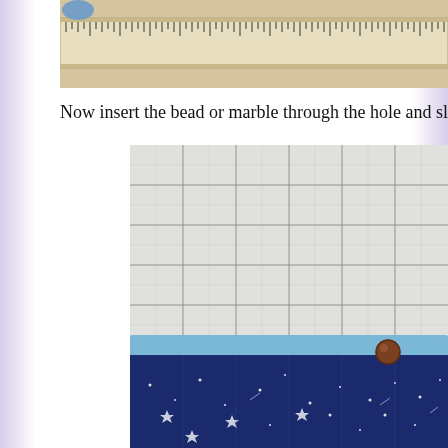[Figure (photo): Top cropped photo showing a ruler/measuring tape with tick marks on a wooden surface, with a small blue object visible at the top left]
Now insert the bead or marble through the hole and slide
[Figure (photo): Photo of a quilting/cutting mat with grid lines, and navy blue star-print fabric folded over a light blue backing, with a small brown wooden bead visible at the right side where the fabric fold is]